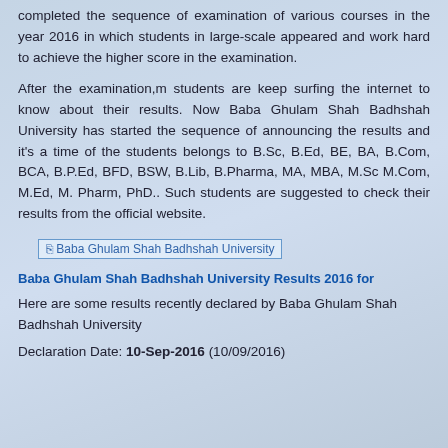completed the sequence of examination of various courses in the year 2016 in which students in large-scale appeared and work hard to achieve the higher score in the examination.
After the examination,m students are keep surfing the internet to know about their results. Now Baba Ghulam Shah Badhshah University has started the sequence of announcing the results and it's a time of the students belongs to B.Sc, B.Ed, BE, BA, B.Com, BCA, B.P.Ed, BFD, BSW, B.Lib, B.Pharma, MA, MBA, M.Sc M.Com, M.Ed, M. Pharm, PhD.. Such students are suggested to check their results from the official website.
[Figure (other): Broken image placeholder labeled 'Baba Ghulam Shah Badhshah University']
Baba Ghulam Shah Badhshah University Results 2016 for
Here are some results recently declared by Baba Ghulam Shah Badhshah University
Declaration Date: 10-Sep-2016 (10/09/2016)